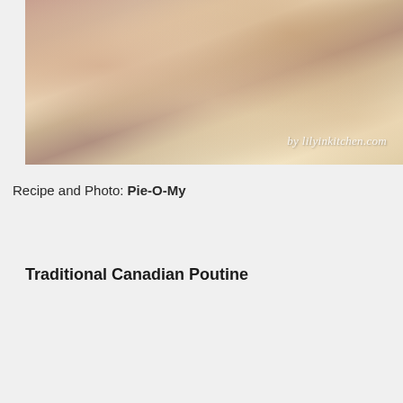[Figure (photo): Close-up photo of a food dish (appears to be a pie or pastry with peas and filling) on a white plate, with watermark 'by lilyinkitchen.com' in bottom right corner]
Recipe and Photo: Pie-O-My
Traditional Canadian Poutine
[Figure (photo): Close-up photo of traditional Canadian poutine — french fry wedges covered in brown gravy and white cheese curds on a white plate]